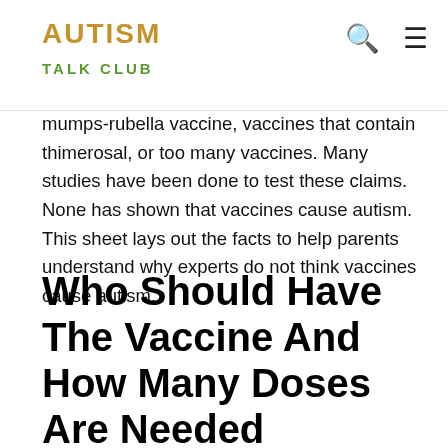AUTISM TALK CLUB
mumps-rubella vaccine, vaccines that contain thimerosal, or too many vaccines. Many studies have been done to test these claims. None has shown that vaccines cause autism. This sheet lays out the facts to help parents understand why experts do not think vaccines cause autism.
Who Should Have The Vaccine And How Many Doses Are Needed